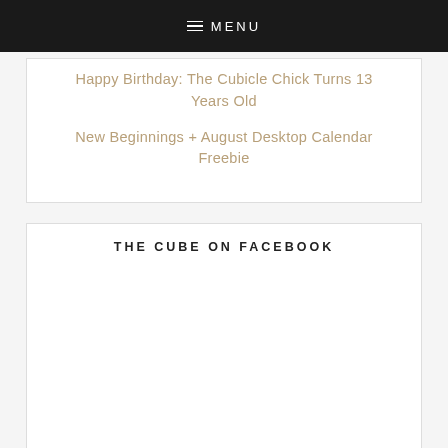≡ MENU
Happy Birthday: The Cubicle Chick Turns 13 Years Old
New Beginnings + August Desktop Calendar Freebie
THE CUBE ON FACEBOOK